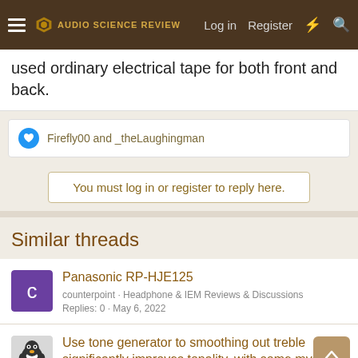Audio Science Review — Log in | Register
used ordinary electrical tape for both front and back.
Firefly00 and _theLaughingman
You must log in or register to reply here.
Similar threads
Panasonic RP-HJE125
counterpoint · Headphone & IEM Reviews & Discussions
Replies: 0 · May 6, 2022
Use tone generator to smoothing out treble significantly improves tonality, with some mystery unresolved
moosso · Headphones and Headphone Amplifier Reviews
Replies: 3 · Nov 5, 2021
[GUIDE] How to use Equalizer APO (PEQ) presets